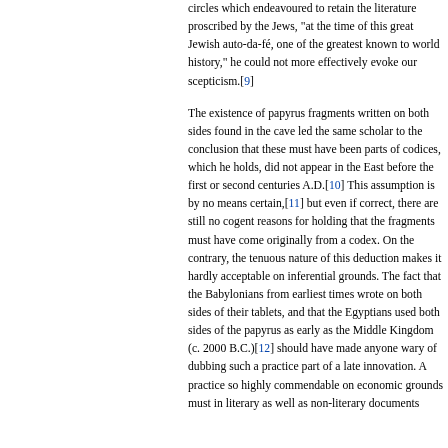circles which endeavoured to retain the literature proscribed by the Jews, "at the time of this great Jewish auto-da-fé, one of the greatest known to world history," he could not more effectively evoke our scepticism.[9]
The existence of papyrus fragments written on both sides found in the cave led the same scholar to the conclusion that these must have been parts of codices, which he holds, did not appear in the East before the first or second centuries A.D.[10] This assumption is by no means certain,[11] but even if correct, there are still no cogent reasons for holding that the fragments must have come originally from a codex. On the contrary, the tenuous nature of this deduction makes it hardly acceptable on inferential grounds. The fact that the Babylonians from earliest times wrote on both sides of their tablets, and that the Egyptians used both sides of the papyrus as early as the Middle Kingdom (c. 2000 B.C.)[12] should have made anyone wary of dubbing such a practice part of a late innovation. A practice so highly commendable on economic grounds must in literary as well as non-literary documents